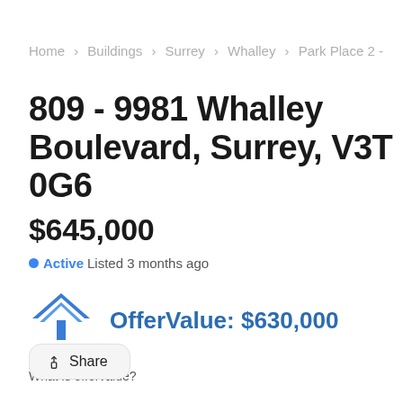Home > Buildings > Surrey > Whalley > Park Place 2 -
809 - 9981 Whalley Boulevard, Surrey, V3T 0G6
$645,000
Active Listed 3 months ago
[Figure (logo): Offerland logo: blue house/roof icon with blue vertical bar beneath, text OFFERLAND below]
OfferValue: $630,000
What is offervalue?
Share